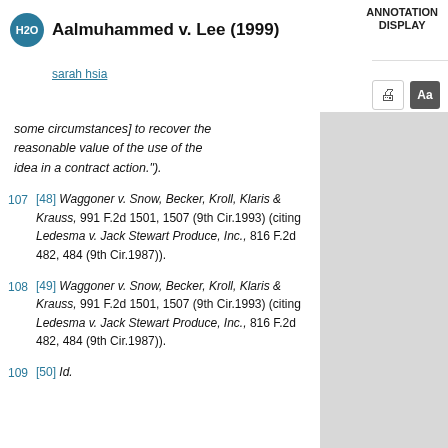Aalmuhammed v. Lee (1999)
sarah hsia
some circumstances] to recover the reasonable value of the use of the idea in a contract action.").
107 [48] Waggoner v. Snow, Becker, Kroll, Klaris & Krauss, 991 F.2d 1501, 1507 (9th Cir.1993) (citing Ledesma v. Jack Stewart Produce, Inc., 816 F.2d 482, 484 (9th Cir.1987)).
108 [49] Waggoner v. Snow, Becker, Kroll, Klaris & Krauss, 991 F.2d 1501, 1507 (9th Cir.1993) (citing Ledesma v. Jack Stewart Produce, Inc., 816 F.2d 482, 484 (9th Cir.1987)).
109 [50] Id.